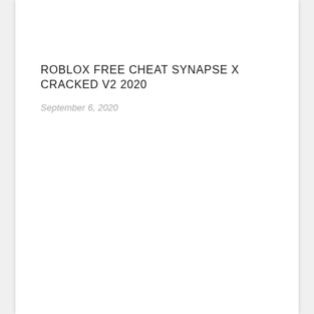ROBLOX FREE CHEAT SYNAPSE X CRACKED V2 2020
September 6, 2020